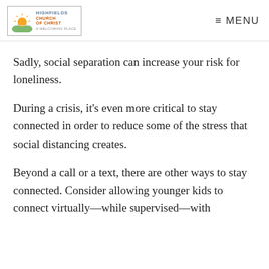Highfields Church of Christ — A Welcoming Place | MENU
Sadly, social separation can increase your risk for loneliness.
During a crisis, it's even more critical to stay connected in order to reduce some of the stress that social distancing creates.
Beyond a call or a text, there are other ways to stay connected. Consider allowing younger kids to connect virtually—while supervised—with